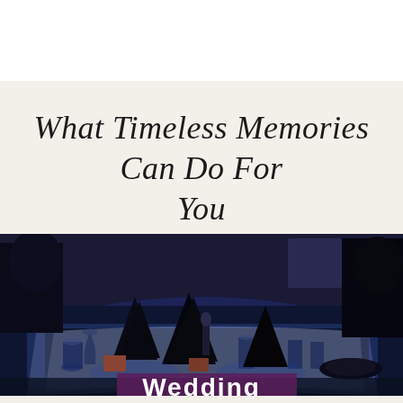What Timeless Memories Can Do For You
[Figure (photo): Wedding reception table setting with dark navy/blue decor, folded black napkins, glassware, plates, and centerpieces in a dimly lit banquet hall with blue lighting. Text overlay reading 'Wedding' at the bottom.]